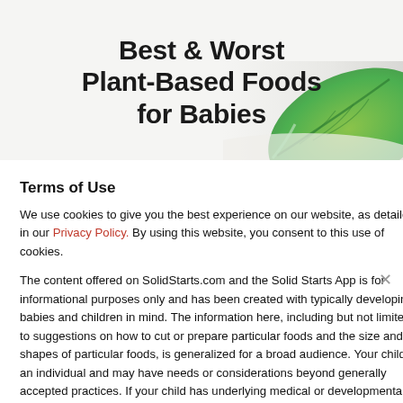Best & Worst Plant-Based Foods for Babies
[Figure (photo): Green leafy vegetable (bok choy/cabbage leaf) in the lower right corner of the hero image area, with a light grey/white background.]
Terms of Use
We use cookies to give you the best experience on our website, as detailed in our Privacy Policy. By using this website, you consent to this use of cookies.
The content offered on SolidStarts.com and the Solid Starts App is for informational purposes only and has been created with typically developing babies and children in mind. The information here, including but not limited to suggestions on how to cut or prepare particular foods and the size and shapes of particular foods, is generalized for a broad audience. Your child is an individual and may have needs or considerations beyond generally accepted practices. If your child has underlying medical or developmental differences, we strongly recommend and encourage you to discuss